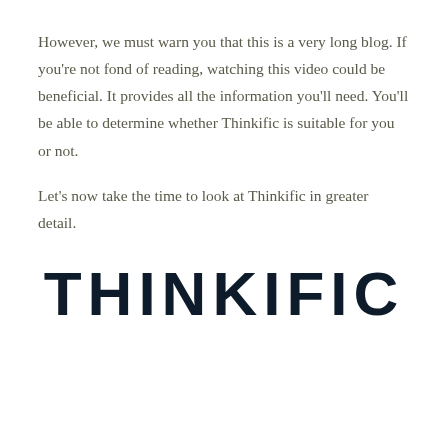However, we must warn you that this is a very long blog. If you're not fond of reading, watching this video could be beneficial. It provides all the information you'll need. You'll be able to determine whether Thinkific is suitable for you or not.
Let's now take the time to look at Thinkific in greater detail.
[Figure (logo): Thinkific logo in large dark navy uppercase letters]